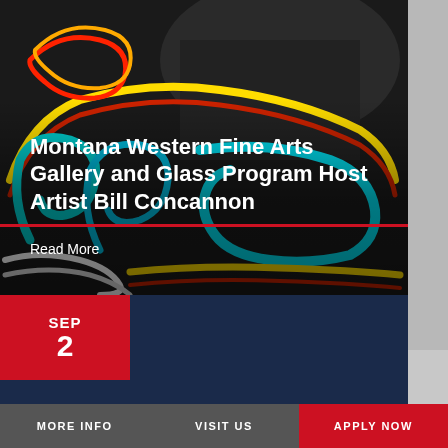[Figure (photo): Neon sign artwork with colorful tubes in yellow, red, blue, cyan and white against a dark background with a person visible in the background]
Montana Western Fine Arts Gallery and Glass Program Host Artist Bill Concannon
Read More
SEP
2
enriching community
MORE INFO   VISIT US   APPLY NOW